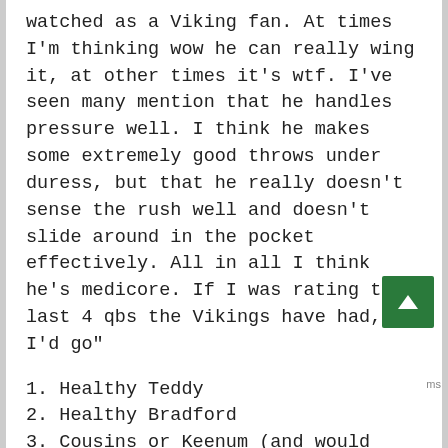watched as a Viking fan. At times I'm thinking wow he can really wing it, at other times it's wtf. I've seen many mention that he handles pressure well. I think he makes some extremely good throws under duress, but that he really doesn't sense the rush well and doesn't slide around in the pocket effectively. All in all I think he's medicore. If I was rating the last 4 qbs the Vikings have had, I'd go"
1. Healthy Teddy
2. Healthy Bradford
3. Cousins or Keenum (and would change my mind every third play)
The injury to Bridgewater really was a tough blow for the team. Gave up a 1st and 4th for Bradford, lose him week 2 the next year.